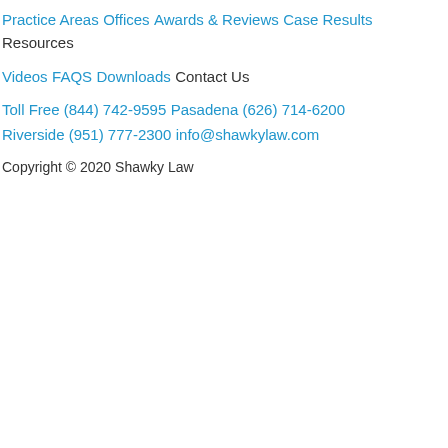Practice Areas
Offices
Awards & Reviews
Case Results
Resources
Videos
FAQS
Downloads
Contact Us
Toll Free (844) 742-9595
Pasadena (626) 714-6200
Riverside (951) 777-2300
info@shawkylaw.com
Copyright © 2020 Shawky Law